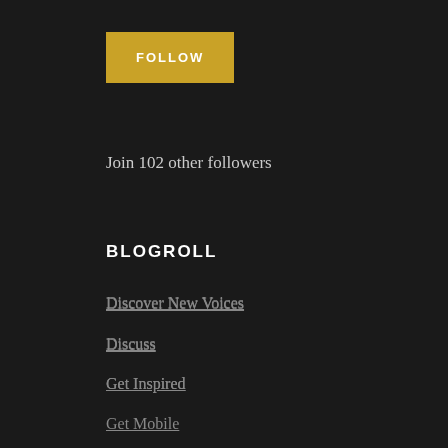FOLLOW
Join 102 other followers
BLOGROLL
Discover New Voices
Discuss
Get Inspired
Get Mobile
Get Polling
Get Support
Great Reads